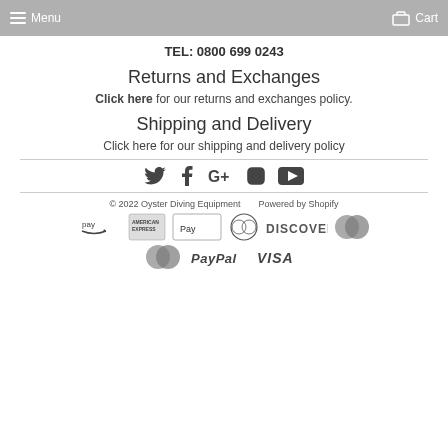Menu   Cart
TEL: 0800 699 0243
Returns and Exchanges
Click here for our returns and exchanges policy.
Shipping and Delivery
Click here for our shipping and delivery policy
[Figure (infographic): Social media icons: Twitter, Facebook, Google+, Instagram, YouTube]
© 2022 Oyster Diving Equipment   Powered by Shopify
[Figure (infographic): Payment method logos: Amazon Pay, American Express, Apple Pay, Diners Club, Discover, Maestro, Mastercard, PayPal, Visa]